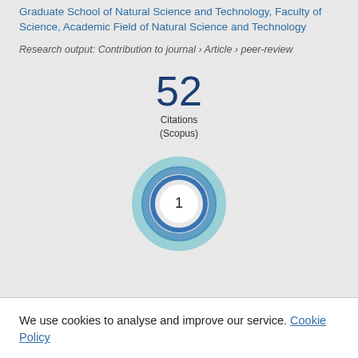Graduate School of Natural Science and Technology, Faculty of Science, Academic Field of Natural Science and Technology
Research output: Contribution to journal › Article › peer-review
52 Citations (Scopus)
[Figure (donut-chart): Donut chart showing value 1, teal/blue concentric ring donut chart with number 1 in center]
We use cookies to analyse and improve our service. Cookie Policy